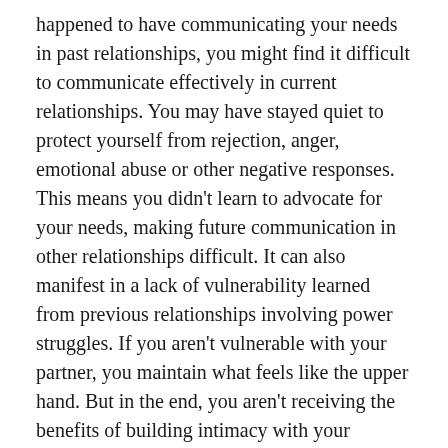happened to have communicating your needs in past relationships, you might find it difficult to communicate effectively in current relationships. You may have stayed quiet to protect yourself from rejection, anger, emotional abuse or other negative responses. This means you didn't learn to advocate for your needs, making future communication in other relationships difficult. It can also manifest in a lack of vulnerability learned from previous relationships involving power struggles. If you aren't vulnerable with your partner, you maintain what feels like the upper hand. But in the end, you aren't receiving the benefits of building intimacy with your partner.
Wanting to place blame elsewhere. When we believe that we won't succeed and will fail no matter what, we start to behave in ways that ensure we will fail. We can displace the responsibility by thinking things like 'I won't get that job anyway'. Then, when we do fail, we could become someone else. We might justify...